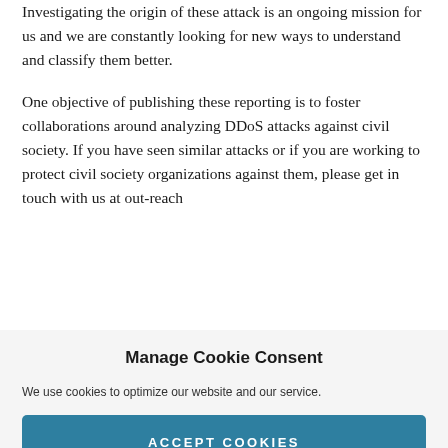Investigating the origin of these attack is an ongoing mission for us and we are constantly looking for new ways to understand and classify them better.
One objective of publishing these reporting is to foster collaborations around analyzing DDoS attacks against civil society. If you have seen similar attacks or if you are working to protect civil society organizations against them, please get in touch with us at out-reach
Manage Cookie Consent
We use cookies to optimize our website and our service.
ACCEPT COOKIES
DENY
VIEW PREFERENCES